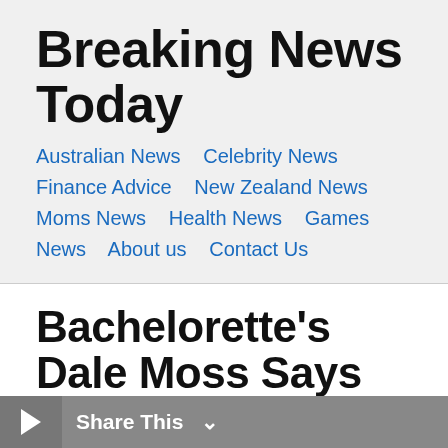Breaking News Today
Australian News  Celebrity News  Finance Advice  New Zealand News  Moms News  Health News  Games News  About us  Contact Us
Bachelorette’s Dale Moss Says Clare Crawley Split ‘Didn’t Come Out of Nowhere’
Share This